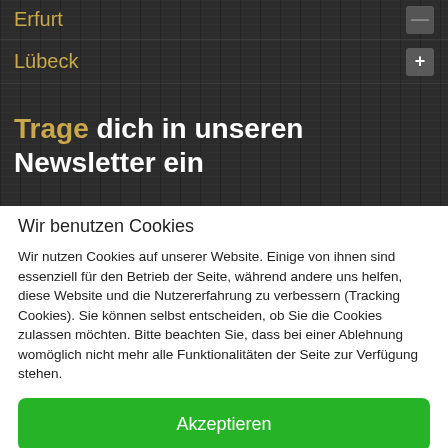Erfurt
Lübeck
Trage dich in unseren Newsletter ein
Wir benutzen Cookies
Wir nutzen Cookies auf unserer Website. Einige von ihnen sind essenziell für den Betrieb der Seite, während andere uns helfen, diese Website und die Nutzererfahrung zu verbessern (Tracking Cookies). Sie können selbst entscheiden, ob Sie die Cookies zulassen möchten. Bitte beachten Sie, dass bei einer Ablehnung womöglich nicht mehr alle Funktionalitäten der Seite zur Verfügung stehen.
Akzeptieren
Ablehnen